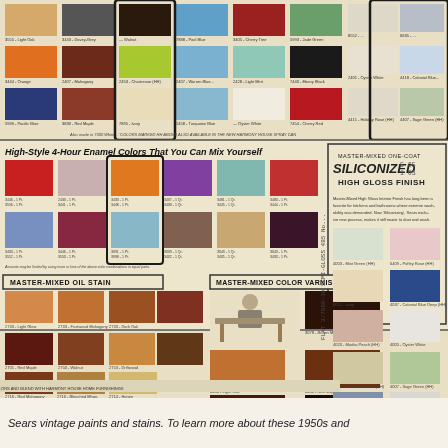[Figure (other): Sears vintage paint color chart showing color swatches for enamel colors, oil stains, and color varnishes. Contains sections: 'High-Style 4-Hour Enamel Colors That You Can Mix Yourself', 'Master-Mixed Oil Stain', 'Master-Mixed Color Varnish', and 'Master-Mixed One-Coat Siliconized High Gloss Finish'. Numerous color swatches with labels are displayed in a grid layout with handwritten price annotations.]
Sears vintage paints and stains. To learn more about these 1950s and